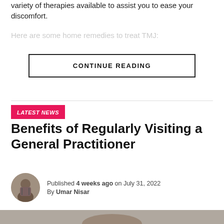variety of therapies available to assist you to ease your discomfort.
Here are some home remedies to treat TMJ:
CONTINUE READING
LATEST NEWS
Benefits of Regularly Visiting a General Practitioner
Published 4 weeks ago on July 31, 2022
By Umar Nisar
[Figure (photo): Bottom portion showing a person from behind, photo cropped at the bottom of the page]